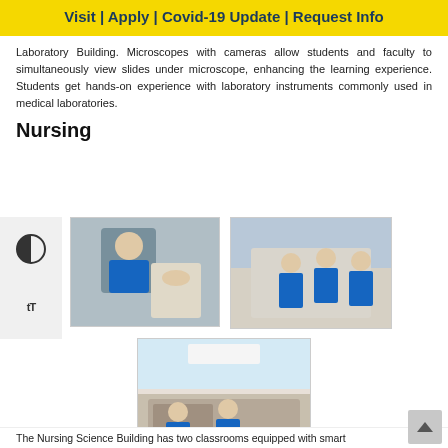Visit | Apply | Covid-19 Update | Request Info
Laboratory Building. Microscopes with cameras allow students and faculty to simultaneously view slides under microscope, enhancing the learning experience. Students get hands-on experience with laboratory instruments commonly used in medical laboratories.
Nursing
[Figure (photo): Nursing student in blue scrubs practicing on a medical mannequin in a simulation lab]
[Figure (photo): Group of nursing students in blue scrubs gathered around a patient bed in a simulation lab]
[Figure (photo): Two students in blue scrubs sitting at a table in a student lounge with photos on the wall]
Student Lounge
The Nursing Science Building has two classrooms equipped with smart